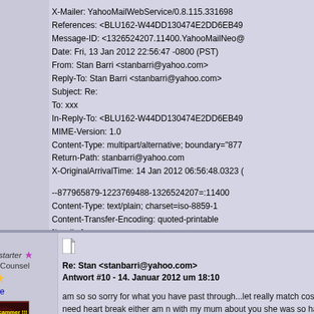X-Mailer: YahooMailWebService/0.8.115.331698
References: <BLU162-W44DD130474E2DD6EB49...
Message-ID: <1326524207.11400.YahooMailNeo@...
Date: Fri, 13 Jan 2012 22:56:47 -0800 (PST)
From: Stan Barri <stanbarri@yahoo.com>
Reply-To: Stan Barri <stanbarri@yahoo.com>
Subject: Re:
To: xxx
In-Reply-To: <BLU162-W44DD130474E2DD6EB49...
MIME-Version: 1.0
Content-Type: multipart/alternative; boundary="877...
Return-Path: stanbarri@yahoo.com
X-OriginalArrivalTime: 14 Jan 2012 06:56:48.0323 (

--877965879-1223769488-1326524207=:11400
Content-Type: text/plain; charset=iso-8859-1
Content-Transfer-Encoding: quoted-printable
[/spoiler]
[Figure (screenshot): Skype/VoIP and Facebook buttons]
Queen
Themenstarter
General Counsel
★★★
Offline
I Love Anti-Scam
Re: Stan <stanbarri@yahoo.com>
Antwort #10 - 14. Januar 2012 um 18:10

am so so sorry for what you have past through...let really match cos i dont need heart break either am n with my mum about you she was so happy and ask dont know...honey i need you and i know that we wi and understanding and i know that we can give it to them all..i love the dogs but me i dont have but hopi to each other and love and see it each other....